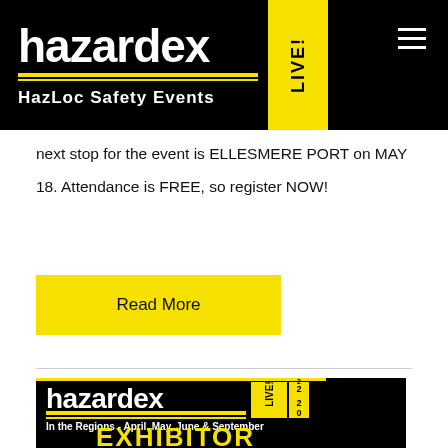[Figure (logo): HazardEx LIVE! logo with HazLoc Safety Events tagline on black background with yellow LIVE badge and hamburger menu icon]
next stop for the event is ELLESMERE PORT on MAY 18. Attendance is FREE, so register NOW!
[Figure (other): Yellow Read More button]
[Figure (infographic): HazardEx LIVE! 2022 banner - In the Regions - April, May, June & September - EXHIBITOR]